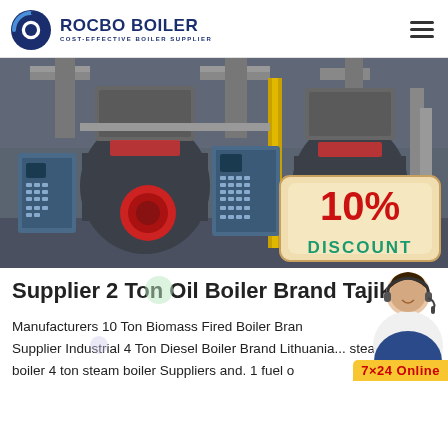[Figure (logo): Rocbo Boiler logo with circular icon and text 'ROCBO BOILER / COST-EFFECTIVE BOILER SUPPLIER']
[Figure (photo): Industrial boiler room showing two large cylindrical steam boilers with red burners, control panels, piping infrastructure, and a '10% DISCOUNT' badge overlay in the bottom right corner]
Supplier 2 Ton Oil Boiler Brand Tajik
Manufacturers 10 Ton Biomass Fired Boiler Brand Supplier Industrial 4 Ton Diesel Boiler Brand Lithuania... steam boiler 4 ton steam boiler Suppliers and. 1 fuel o